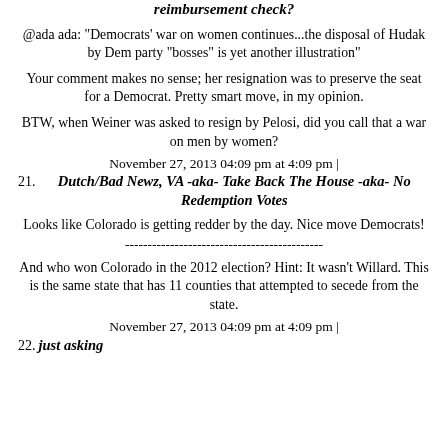reimbursement check?
@ada ada: "Democrats' war on women continues...the disposal of Hudak by Dem party "bosses" is yet another illustration"
Your comment makes no sense; her resignation was to preserve the seat for a Democrat. Pretty smart move, in my opinion.
BTW, when Weiner was asked to resign by Pelosi, did you call that a war on men by women?
November 27, 2013 04:09 pm at 4:09 pm |
21. Dutch/Bad Newz, VA -aka- Take Back The House -aka- No Redemption Votes
Looks like Colorado is getting redder by the day. Nice move Democrats!
--------------------------------------------
And who won Colorado in the 2012 election? Hint: It wasn't Willard. This is the same state that has 11 counties that attempted to secede from the state.
November 27, 2013 04:09 pm at 4:09 pm |
22. just asking